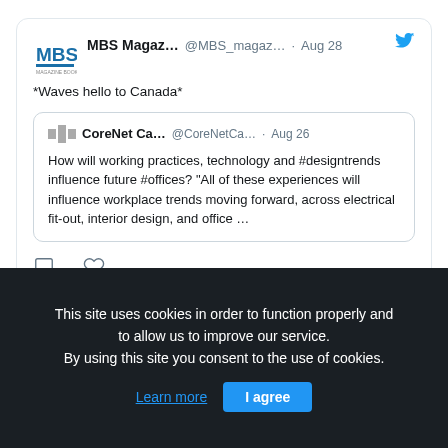[Figure (screenshot): MBS Magazine tweet quoting CoreNet Canada tweet about workplace design trends, with Twitter bird icon, comment and like icons. Below is a blue section and a dark cookie consent banner.]
This site uses cookies in order to function properly and to allow us to improve our service. By using this site you consent to the use of cookies.
Learn more | I agree